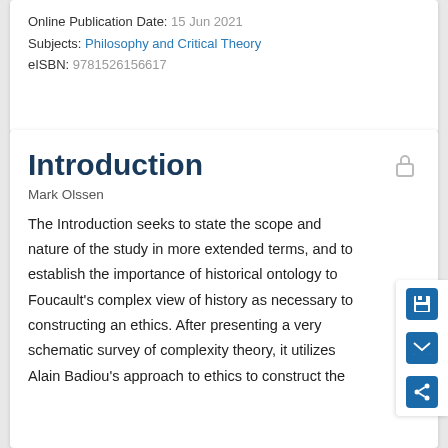Online Publication Date: 15 Jun 2021
Subjects: Philosophy and Critical Theory
eISBN: 9781526156617
Introduction
Mark Olssen
The Introduction seeks to state the scope and nature of the study in more extended terms, and to establish the importance of historical ontology to Foucault's complex view of history as necessary to constructing an ethics. After presenting a very schematic survey of complexity theory, it utilizes Alain Badiou's approach to ethics to construct the